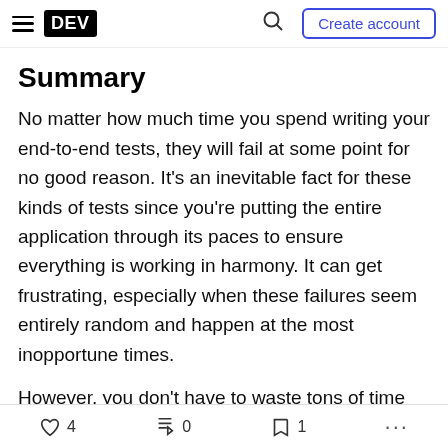DEV | Create account
Summary
No matter how much time you spend writing your end-to-end tests, they will fail at some point for no good reason. It's an inevitable fact for these kinds of tests since you're putting the entire application through its paces to ensure everything is working in harmony. It can get frustrating, especially when these failures seem entirely random and happen at the most inopportune times.
However, you don't have to waste tons of time staring at your test code to figure out what's wrong. Most testing frameworks have excellent support for
♡ 4  | 0  | 🔖 1  | ...